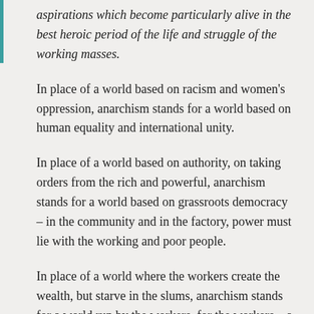aspirations which become particularly alive in the best heroic period of the life and struggle of the working masses.
In place of a world based on racism and women's oppression, anarchism stands for a world based on human equality and international unity.
In place of a world based on authority, on taking orders from the rich and powerful, anarchism stands for a world based on grassroots democracy – in the community and in the factory, power must lie with the working and poor people.
In place of a world where the workers create the wealth, but starve in the slums, anarchism stands for a world run by the workers, for the workers – a world